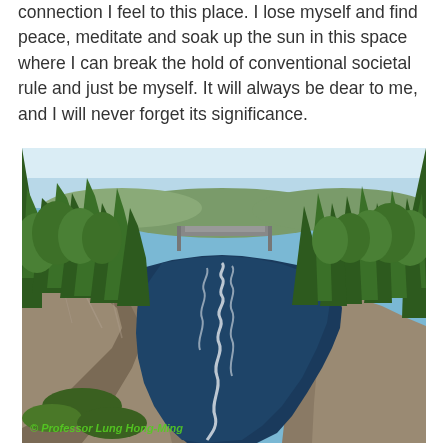connection I feel to this place. I lose myself and find peace, meditate and soak up the sun in this space where I can break the hold of conventional societal rule and just be myself. It will always be dear to me, and I will never forget its significance.
[Figure (photo): A scenic river gorge with dark blue rushing water, flanked by rocky cliffs on the left and dense green pine and deciduous trees on both sides. A bridge is visible in the background. Watermark text '© Professor Lung Hong-Ming' in green italic at the bottom left.]